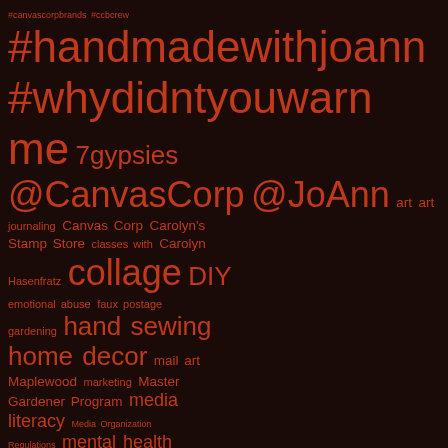[Figure (other): Tag cloud on dark brown background with red/orange text. Tags include: #canvascorpbrands #ccbcrew #handmadewithjoann #whydidntyouwarnme 7gypsies @CanvasCorp @JoAnn art art journaling Canvas Corp Carolyn's Stamp Store classes with Carolyn Hasenfratz collage DIY emotional abuse faux postage gardening hand sewing home decor mail art Maplewood marketing Master Gardener Program media literacy Media Organization Regulations mental health Missouri mixed media mixed media art MO organic gardening paper crafts Route 66 and more]